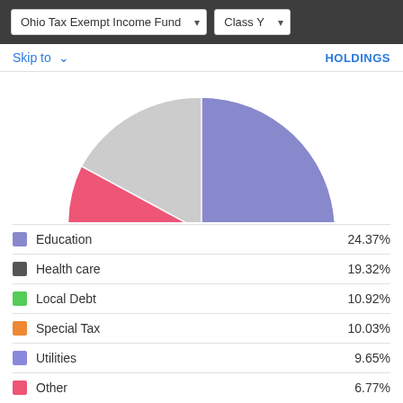Ohio Tax Exempt Income Fund | Class Y
Skip to  HOLDINGS
[Figure (pie-chart): Ohio Tax Exempt Income Fund - Class Y Holdings]
Education  24.37%
Health care  19.32%
Local Debt  10.92%
Special Tax  10.03%
Utilities  9.65%
Other  6.77%